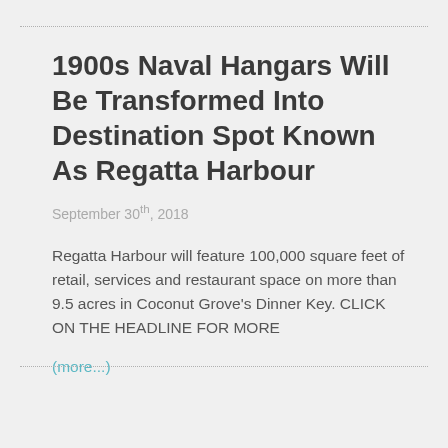1900s Naval Hangars Will Be Transformed Into Destination Spot Known As Regatta Harbour
September 30th, 2018
Regatta Harbour will feature 100,000 square feet of retail, services and restaurant space on more than 9.5 acres in Coconut Grove's Dinner Key. CLICK ON THE HEADLINE FOR MORE
(more...)